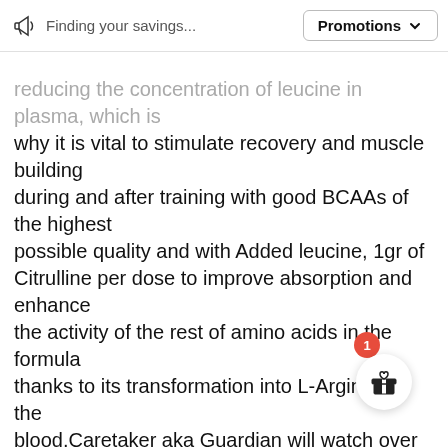Finding your savings... | Promotions
reducing the concentration of leucine in plasma, which is why it is vital to stimulate recovery and muscle building during and after training with good BCAAs of the highest possible quality and with Added leucine, 1gr of Citrulline per dose to improve absorption and enhance the activity of the rest of amino acids in the formula thanks to its transformation into L-Arginine in the blood.Caretaker aka Guardian will watch over our most veteran athletes, leucine levels alter as we age and hence the progressive loss of muscle mass (sarcopenia) .. is here to take care that we can continue training at the maximum possible performance for many years.14gr of amino acids per dose, 6.6gr 10: 1: 1 instant BCAAs, 3.3gr Glutamine, 3.3gr of mixture of L-Lysine, L-Alanine, Taurine, L-Glycine, 1gr Citrulline, and mix of electrolytes for favoring hydration during and after training m... Caretarker the Guardian that we all need in order continue eating the irons like true animals, welcome to